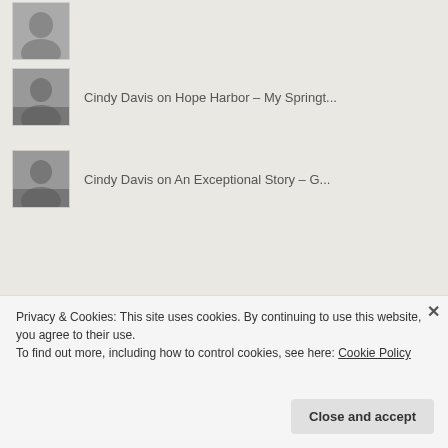Cindy Davis on Hope Harbor – My Springt...
Cindy Davis on An Exceptional Story – G...
[Figure (logo): Pinterest logo in red italic script inside a bordered box]
Privacy & Cookies: This site uses cookies. By continuing to use this website, you agree to their use.
To find out more, including how to control cookies, see here: Cookie Policy
Close and accept